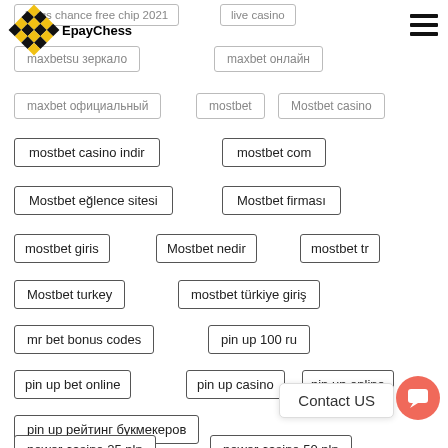[Figure (logo): EpayChess logo with black and yellow checkered diamond and text EpayChess]
kings chance free chip 2021
live casino
maxbetsu зеркало
maxbet онлайн
maxbet официальный
mostbet
Mostbet casino
mostbet casino indir
mostbet com
Mostbet eğlence sitesi
Mostbet firması
mostbet giris
Mostbet nedir
mostbet tr
Mostbet turkey
mostbet türkiye giriş
mr bet bonus codes
pin up 100 ru
pin up bet online
pin up casino
pin up online
pin up рейтинг букмекеров
power casino 25 pln
power casino 50 pln
Contact US